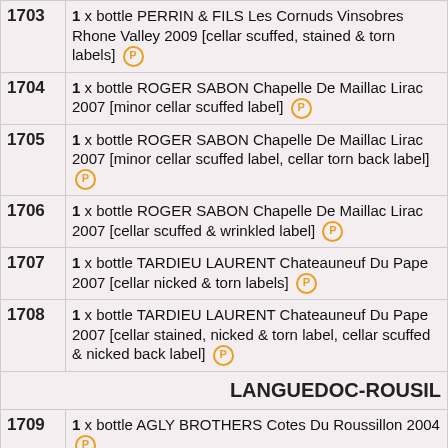| Lot | Description |
| --- | --- |
| 1703 | 1 x bottle PERRIN & FILS Les Cornuds Vinsobres Rhone Valley 2009 [cellar scuffed, stained & torn labels] P |
| 1704 | 1 x bottle ROGER SABON Chapelle De Maillac Lirac 2007 [minor cellar scuffed label] P |
| 1705 | 1 x bottle ROGER SABON Chapelle De Maillac Lirac 2007 [minor cellar scuffed label, cellar torn back label] P |
| 1706 | 1 x bottle ROGER SABON Chapelle De Maillac Lirac 2007 [cellar scuffed & wrinkled label] P |
| 1707 | 1 x bottle TARDIEU LAURENT Chateauneuf Du Pape 2007 [cellar nicked & torn labels] P |
| 1708 | 1 x bottle TARDIEU LAURENT Chateauneuf Du Pape 2007 [cellar stained, nicked & torn label, cellar scuffed & nicked back label] P |
|  | LANGUEDOC-ROUSIL |
| 1709 | 1 x bottle AGLY BROTHERS Cotes Du Roussillon 2004 P |
| 1710 | 1 x bottle AGLY BROTHERS Cotes Du Roussillon 2004 P |
| 1711 | 1 x bottle AGLY BROTHERS Cotes Du Roussillon |